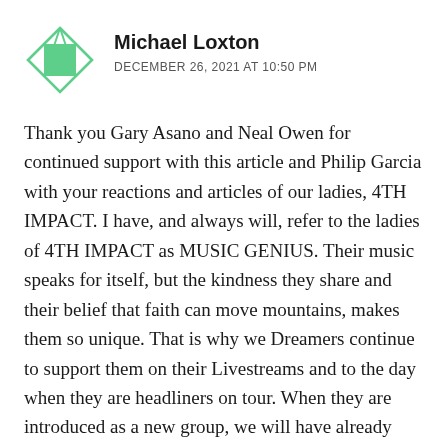[Figure (logo): Green diamond/square geometric logo with overlapping diamond outlines in green]
Michael Loxton
DECEMBER 26, 2021 AT 10:50 PM
Thank you Gary Asano and Neal Owen for continued support with this article and Philip Garcia with your reactions and articles of our ladies, 4TH IMPACT. I have, and always will, refer to the ladies of 4TH IMPACT as MUSIC GENIUS. Their music speaks for itself, but the kindness they share and their belief that faith can move mountains, makes them so unique. That is why we Dreamers continue to support them on their Livestreams and to the day when they are headliners on tour. When they are introduced as a new group, we will have already known for years who they are and where they have been. Hard working ladies trying to make a better life for their parents and family through something they love to do, SING & ENTERTAIN...